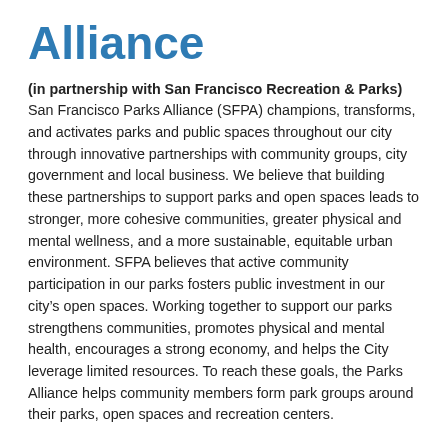Alliance
(in partnership with San Francisco Recreation & Parks) San Francisco Parks Alliance (SFPA) champions, transforms, and activates parks and public spaces throughout our city through innovative partnerships with community groups, city government and local business. We believe that building these partnerships to support parks and open spaces leads to stronger, more cohesive communities, greater physical and mental wellness, and a more sustainable, equitable urban environment. SFPA believes that active community participation in our parks fosters public investment in our city’s open spaces. Working together to support our parks strengthens communities, promotes physical and mental health, encourages a strong economy, and helps the City leverage limited resources. To reach these goals, the Parks Alliance helps community members form park groups around their parks, open spaces and recreation centers.
Friends of the